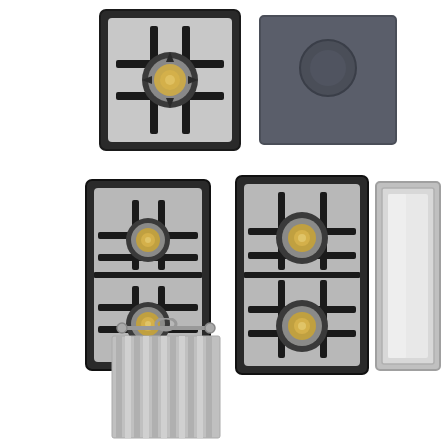[Figure (photo): Top-view of a single gas burner with brass cap and black cast iron grate on stainless steel surface]
[Figure (photo): Dark grey/slate colored square electric induction or teppanyaki cooktop surface with circular element visible]
[Figure (photo): Two-burner gas cooktop module with brass burner caps and black cast iron grates on stainless steel]
[Figure (photo): Two-burner gas cooktop module with larger brass burner caps and black cast iron grates on stainless steel]
[Figure (photo): Stainless steel flat surface module with raised border frame — griddle or worktop cover]
[Figure (photo): Stainless steel ribbed/grooved grill plate/griddle with hanging rod at top, viewed from above]